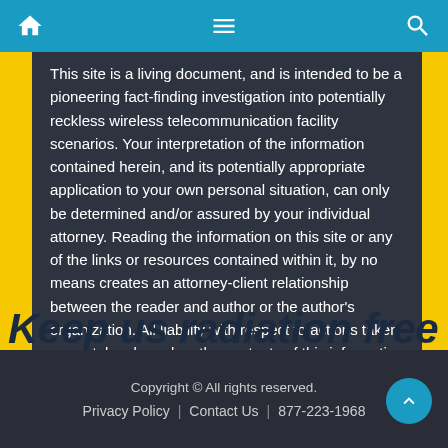Navigation bar with home, menu, and search icons
This site is a living document, and is intended to be a pioneering fact-finding investigation into potentially reckless wireless telecommunication facility scenarios. Your interpretation of the information contained herein, and its potentially appropriate application to your own personal situation, can only be determined and/or assured by your individual attorney. Reading the information on this site or any of the links or resources contained within it, by no means creates an attorney-client relationship between the reader and author or the author's organization. All liability with respect to actions taken or not taken based on the contents of this information is hereby expressly disclaimed.
Keep us radiation free
Copyright © All rights reserved.
Privacy Policy | Contact Us | 877-223-1968